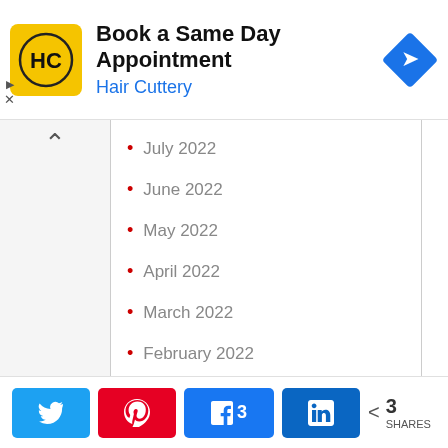[Figure (other): Hair Cuttery advertisement banner: logo with HC initials on yellow background, text 'Book a Same Day Appointment' and 'Hair Cuttery', blue diamond navigation arrow icon]
July 2022
June 2022
May 2022
April 2022
March 2022
February 2022
January 2022
December 2021
[Figure (other): Social share bar with Twitter (blue), Pinterest (red), Facebook (blue, count 3), LinkedIn (dark blue) buttons, and total 3 SHARES]